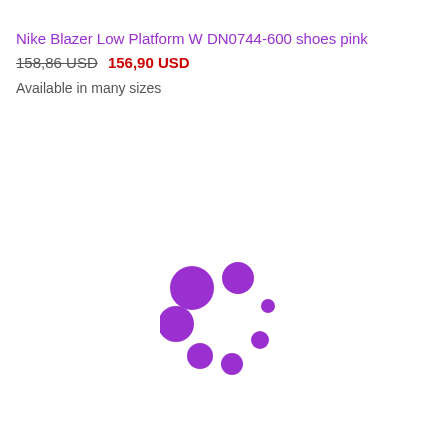Nike Blazer Low Platform W DN0744-600 shoes pink
158,86 USD 156,90 USD
Available in many sizes
[Figure (other): Purple loading spinner animation graphic consisting of multiple circles of varying sizes arranged in a circular pattern]